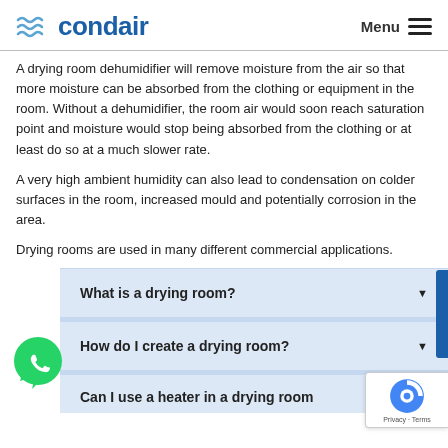condair  Menu
A drying room dehumidifier will remove moisture from the air so that more moisture can be absorbed from the clothing or equipment in the room. Without a dehumidifier, the room air would soon reach saturation point and moisture would stop being absorbed from the clothing or at least do so at a much slower rate.
A very high ambient humidity can also lead to condensation on colder surfaces in the room, increased mould and potentially corrosion in the area.
Drying rooms are used in many different commercial applications.
What is a drying room?
How do I create a drying room?
Can I use a heater in a drying room